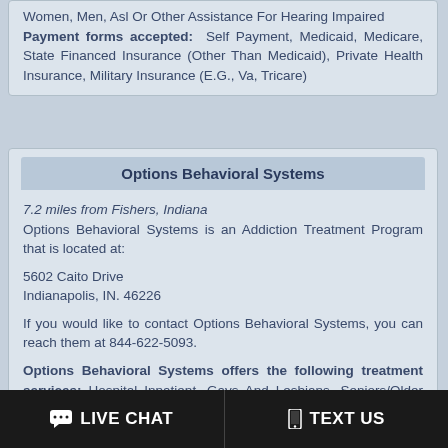Women, Men, Asl Or Other Assistance For Hearing Impaired Payment forms accepted: Self Payment, Medicaid, Medicare, State Financed Insurance (Other Than Medicaid), Private Health Insurance, Military Insurance (E.G., Va, Tricare)
Options Behavioral Systems
7.2 miles from Fishers, Indiana
Options Behavioral Systems is an Addiction Treatment Program that is located at:

5602 Caito Drive
Indianapolis, IN. 46226

If you would like to contact Options Behavioral Systems, you can reach them at 844-622-5093.

Options Behavioral Systems offers the following treatment services: Hospital Inpatient, Gays And Lesbians, Seniors/Older Adults, Criminal Justice Clients, Asl Or Other Assistance For Hearing Impaired
Payment forms accepted: Self Payment, Medicaid, Medicare, State Financed Insurance (Other Than Medicaid),
LIVE CHAT   TEXT US